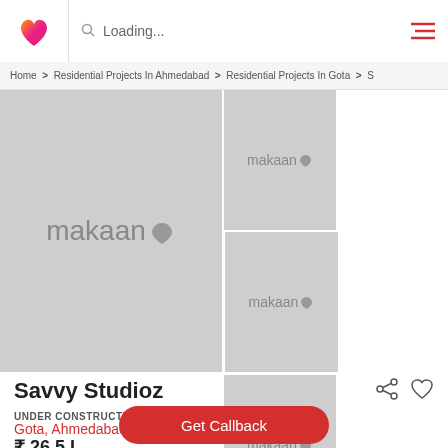Loading...
Home > Residential Projects In Ahmedabad > Residential Projects In Gota > S
[Figure (screenshot): Image gallery with 5 placeholder makaan.com logo images in a grid layout. Large main image on left, 4 smaller images on right in 2x2 grid, last cell shows '+9 more' overlay.]
Savvy Studioz
UNDER CONSTRUCTION
Gota, Ahmedabad
₹ 26.5 L
1 bhk Apartments
Get Callback